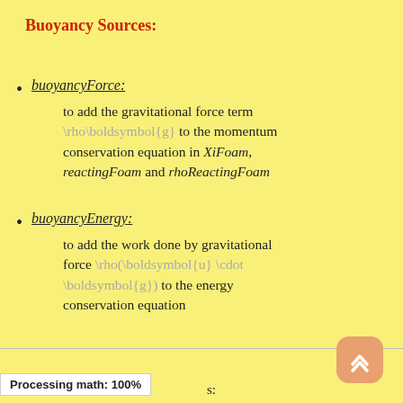Buoyancy Sources:
buoyancyForce: to add the gravitational force term \rho\boldsymbol{g} to the momentum conservation equation in XiFoam, reactingFoam and rhoReactingFoam
buoyancyEnergy: to add the work done by gravitational force \rho(\boldsymbol{u} \cdot \boldsymbol{g}) to the energy conservation equation
Processing math: 100%